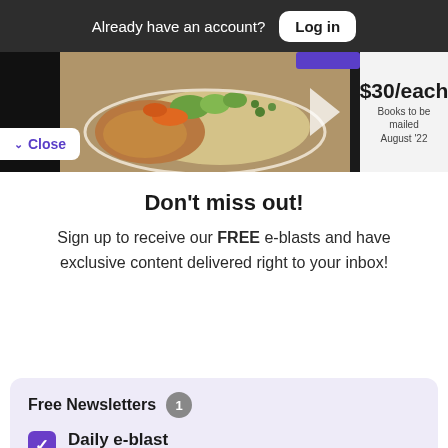Already have an account? Log in
[Figure (photo): Food photo showing a plate with chicken, mashed potatoes, carrots and peas, with a price tag showing $30/each, Books to be mailed August '22]
Don't miss out!
Sign up to receive our FREE e-blasts and have exclusive content delivered right to your inbox!
Free Newsletters 1
Daily e-blast — Join thousands of readers who get their coverage on Black communities from the media company who has been doing it